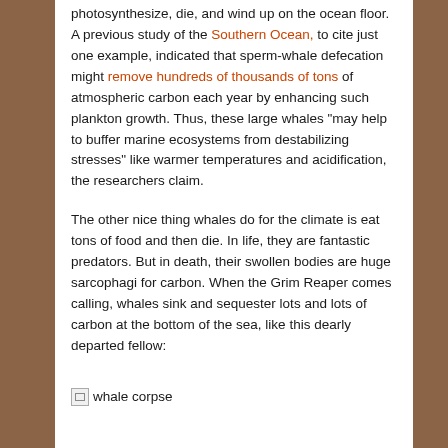photosynthesize, die, and wind up on the ocean floor. A previous study of the Southern Ocean, to cite just one example, indicated that sperm-whale defecation might remove hundreds of thousands of tons of atmospheric carbon each year by enhancing such plankton growth. Thus, these large whales “may help to buffer marine ecosystems from destabilizing stresses” like warmer temperatures and acidification, the researchers claim.
The other nice thing whales do for the climate is eat tons of food and then die. In life, they are fantastic predators. But in death, their swollen bodies are huge sarcophagi for carbon. When the Grim Reaper comes calling, whales sink and sequester lots and lots of carbon at the bottom of the sea, like this dearly departed fellow:
[Figure (photo): Broken image placeholder labeled 'whale corpse']